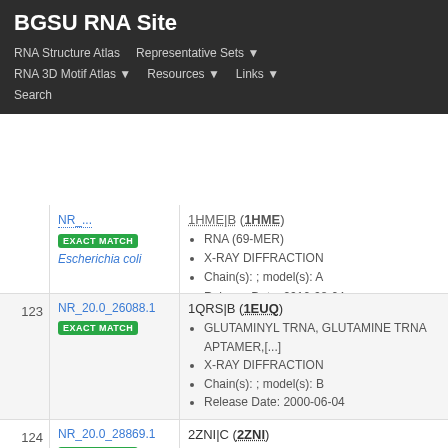BGSU RNA Site
RNA Structure Atlas | Representative Sets ▾
RNA 3D Motif Atlas ▾ | Resources ▾ | Links ▾
Search
| # | ID | Info |
| --- | --- | --- |
|  | NR_... EXACT MATCH Escherichia coli | 1HME|B (1HME) • RNA (69-MER) • X-RAY DIFFRACTION • Chain(s): ; model(s): A • Release Date: 2010-08-04 |
| 123 | NR_20.0_26088.1 EXACT MATCH | 1QRS|B (1EUQ) • GLUTAMINYL TRNA, GLUTAMINE TRNA APTAMER,[...] • X-RAY DIFFRACTION • Chain(s): ; model(s): B • Release Date: 2000-06-04 |
| 124 | NR_20.0_28869.1 EXACT MATCH | 2ZNI|C (2ZNI) • bacterial tRNA • X-RAY DIFFRACTION |